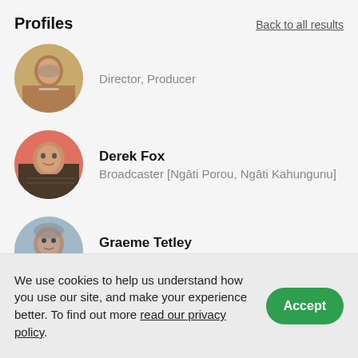Profiles | Back to all results
Director, Producer
Derek Fox
Broadcaster [Ngāti Porou, Ngāti Kahungunu]
Graeme Tetley
Writer
We use cookies to help us understand how you use our site, and make your experience better. To find out more read our privacy policy.